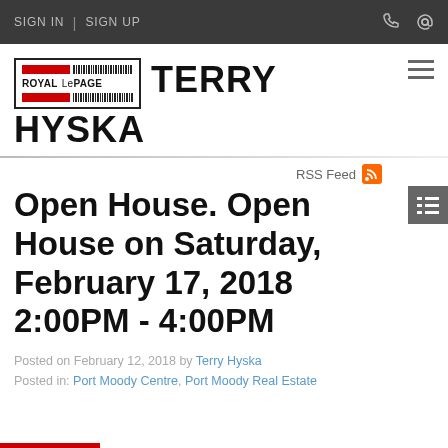SIGN IN | SIGN UP
[Figure (logo): Royal LePage logo with barcode graphic and red bars]
TERRY HYSKA
RSS Feed
Open House. Open House on Saturday, February 17, 2018 2:00PM - 4:00PM
Posted on February 12, 2018 by Terry Hyska
Posted in: Port Moody Centre, Port Moody Real Estate